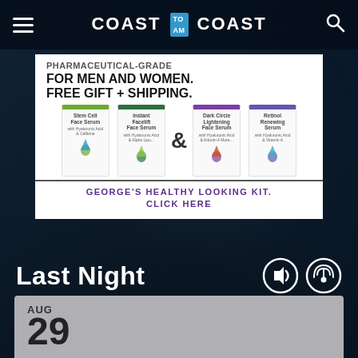Coast to Coast AM
[Figure (infographic): Advertisement for skincare products (Stem Cell Face Serum, Instant Facelift Face Serum, Dark Circle Lightening Face Serum, Retinol Renewing Serum) for men and women. Text: FOR MEN AND WOMEN. FREE GIFT + SHIPPING. GEORGE'S HEALTHY LOOKING KIT. CLICK HERE.]
Last Night
AUG 29